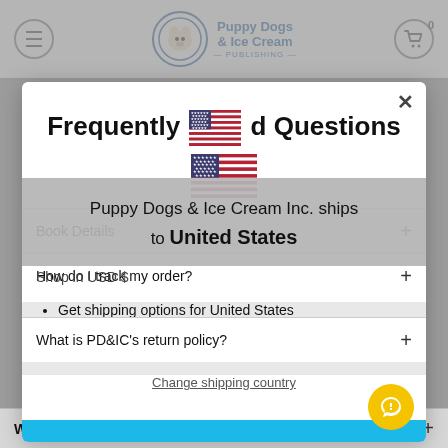Puppy Dogs & Ice Cream Publishing — website header
Frequently Asked Questions
Puppy Dogs & Ice Cream Inc. ships to United States
Book Details
How do I track my order?
Get shipping options for United States
Shop in USD $
What is the average shipping time for orders?
Shop now
What is PD&IC's return policy?
Change shipping country
What if my product arrives damaged/something